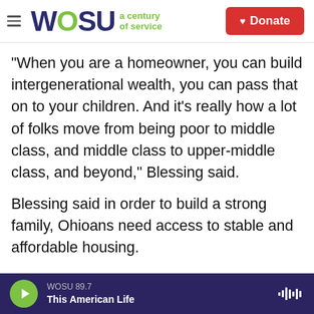WOSU a century of service | Donate
“When you are a homeowner, you can build intergenerational wealth, you can pass that on to your children. And it's really how a lot of folks move from being poor to middle class, and middle class to upper-middle class, and beyond,” Blessing said.
Blessing said in order to build a strong family, Ohioans need access to stable and affordable housing.
Sen. Blessing is hoping to hold a hearing before the General Assembly closes session for the year, but expects to reintroduce the bill after it reconvenes.
WOSU 89.7 | This American Life